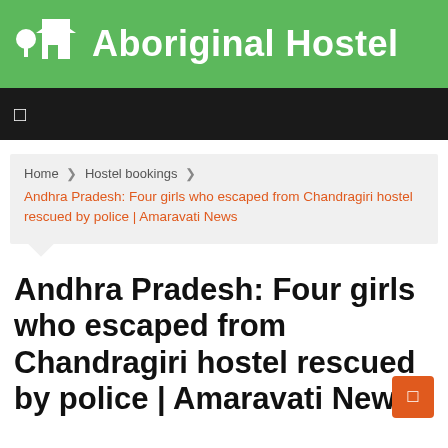Aboriginal Hostel
☰
Home ❯ Hostel bookings ❯ Andhra Pradesh: Four girls who escaped from Chandragiri hostel rescued by police | Amaravati News
Andhra Pradesh: Four girls who escaped from Chandragiri hostel rescued by police | Amaravati News